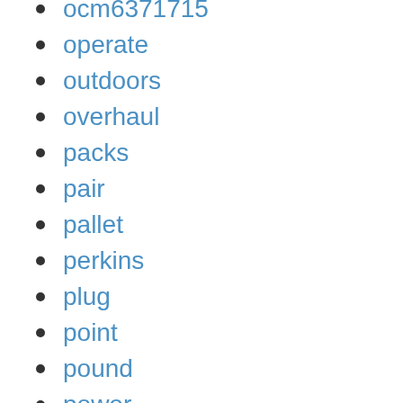ocm6371715
operate
outdoors
overhaul
packs
pair
pallet
perkins
plug
point
pound
power
premier
prepared
profile
property
quadrastat
quick
radiator
re38009
re507604
ready